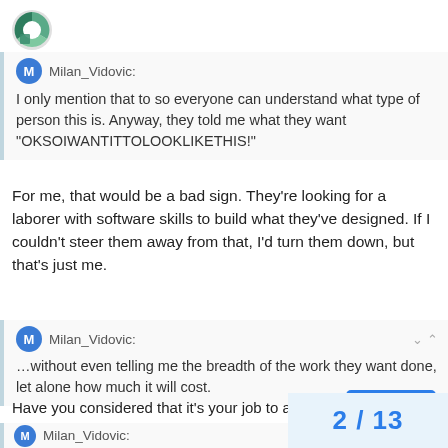[Figure (logo): Green and teal pie-chart style logo icon in top left corner]
Milan_Vidovic: I only mention that to so everyone can understand what type of person this is. Anyway, they told me what they want “OKSOIWANTITTOLOOKLIKETHIS!”
For me, that would be a bad sign. They’re looking for a laborer with software skills to build what they’ve designed. If I couldn’t steer them away from that, I’d turn them down, but that’s just me.
Milan_Vidovic: …without even telling me the breadth of the work they want done, let alone how much it will cost.
Have you considered that it's your job to ask?
Milan_Vidovic:
2 / 13